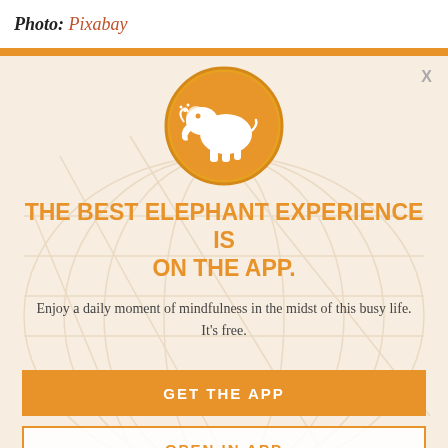Photo: Pixabay
[Figure (screenshot): App promotion modal with orange elephant logo circle, headline, subtitle, and two call-to-action buttons on a cream/light-orange background]
THE BEST ELEPHANT EXPERIENCE IS ON THE APP.
Enjoy a daily moment of mindfulness in the midst of this busy life. It's free.
GET THE APP
OPEN IN APP